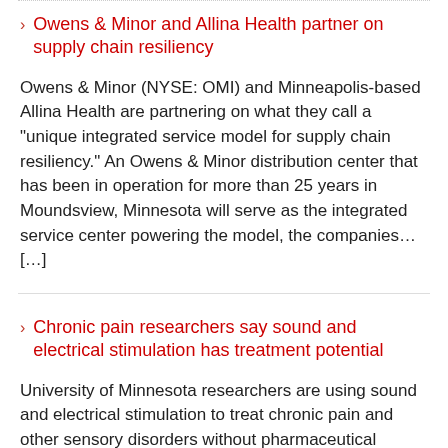Owens & Minor and Allina Health partner on supply chain resiliency
Owens & Minor (NYSE: OMI) and Minneapolis-based Allina Health are partnering on what they call a "unique integrated service model for supply chain resiliency." An Owens & Minor distribution center that has been in operation for more than 25 years in Moundsview, Minnesota will serve as the integrated service center powering the model, the companies… […]
Chronic pain researchers say sound and electrical stimulation has treatment potential
University of Minnesota researchers are using sound and electrical stimulation to treat chronic pain and other sensory disorders without pharmaceutical drugs. The combination of sound and stimulation